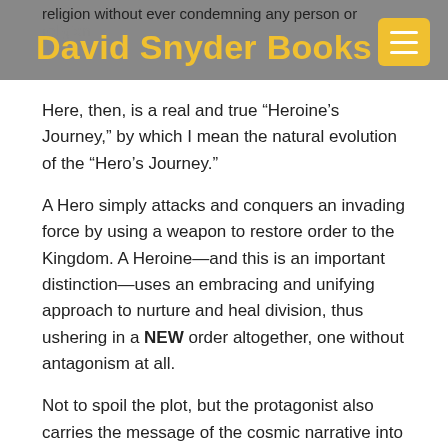religion without ever condemning any person or religion
David Snyder Books
Here, then, is a real and true “Heroine’s Journey,” by which I mean the natural evolution of the “Hero’s Journey.”
A Hero simply attacks and conquers an invading force by using a weapon to restore order to the Kingdom. A Heroine—and this is an important distinction—uses an embracing and unifying approach to nurture and heal division, thus ushering in a NEW order altogether, one without antagonism at all.
Not to spoil the plot, but the protagonist also carries the message of the cosmic narrative into